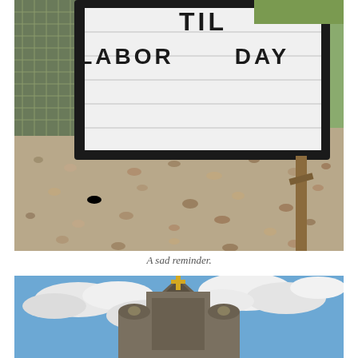[Figure (photo): Outdoor photo of a black-framed letter board sign on gravel ground reading 'TIL LABOR DAY', with a wooden lattice fence visible in the background left and a wooden support stake on the right.]
A sad reminder.
[Figure (photo): Partial photo of a church or cathedral tower/steeple with a golden cross at the top, set against a blue sky with white clouds.]